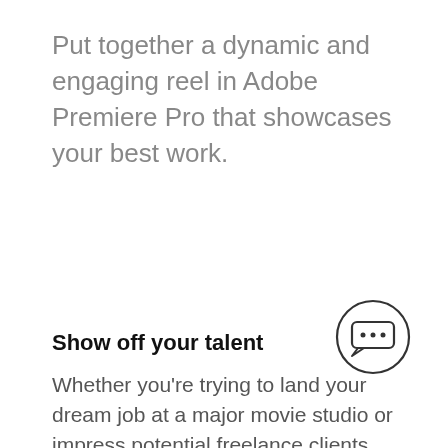Put together a dynamic and engaging reel in Adobe Premiere Pro that showcases your best work.
[Figure (illustration): Chat bubble icon inside a circle, with three dots indicating a conversation]
Show off your talent
Whether you're trying to land your dream job at a major movie studio or impress potential freelance clients, your demo reel is a primary tool for landing